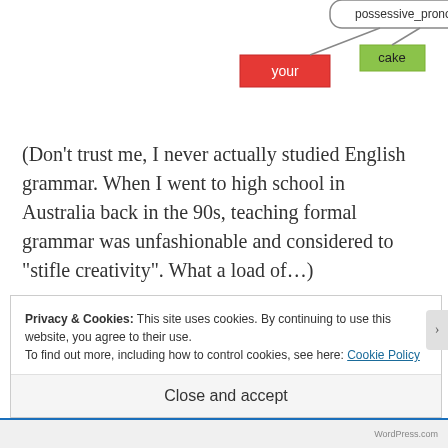[Figure (flowchart): Parse tree diagram showing 'possessive_pronoun' node connected to 'cake' (green box) and 'your' (red box) below it]
(Don’t trust me, I never actually studied English grammar. When I went to high school in Australia back in the 90s, teaching formal grammar was unfashionable and considered to “stifle creativity”. What a load of…)
Privacy & Cookies: This site uses cookies. By continuing to use this website, you agree to their use.
To find out more, including how to control cookies, see here: Cookie Policy
Close and accept